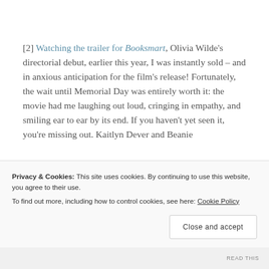[2] Watching the trailer for Booksmart, Olivia Wilde's directorial debut, earlier this year, I was instantly sold – and in anxious anticipation for the film's release! Fortunately, the wait until Memorial Day was entirely worth it: the movie had me laughing out loud, cringing in empathy, and smiling ear to ear by its end. If you haven't yet seen it, you're missing out. Kaitlyn Dever and Beanie
Privacy & Cookies: This site uses cookies. By continuing to use this website, you agree to their use.
To find out more, including how to control cookies, see here: Cookie Policy
Close and accept